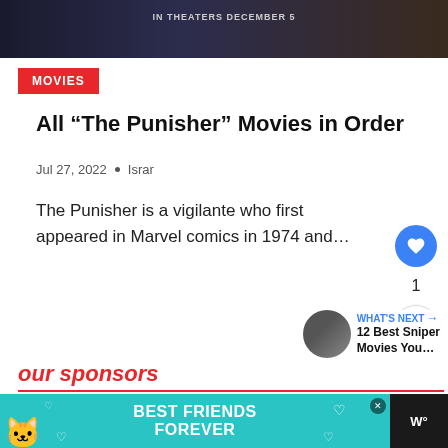[Figure (photo): Dark cinematic movie banner image with text 'IN THEATERS DECEMBER 5']
MOVIES
All “The Punisher” Movies in Order
Jul 27, 2022 • Israr
The Punisher is a vigilante who first appeared in Marvel comics in 1974 and…
[Figure (infographic): Social interaction buttons: heart/like button (blue circle), like count '1', share button]
[Figure (photo): What's Next section with thumbnail and text: 12 Best Sniper Movies You...]
our sponsors
[Figure (photo): Advertisement banner: Best Friends Forever with cat illustration on teal background]